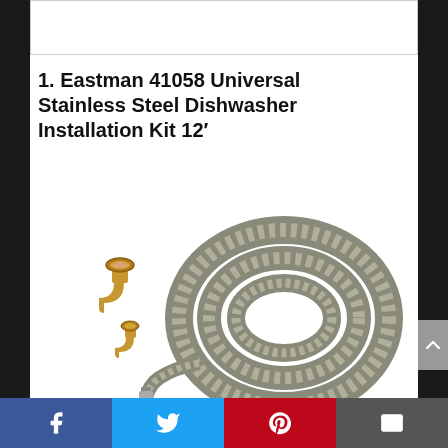[Figure (photo): Top image placeholder area (white box with border)]
1. Eastman 41058 Universal Stainless Steel Dishwasher Installation Kit 12′
[Figure (photo): Product photo of Eastman 41058 stainless steel braided dishwasher supply hose coiled, with two brass 90-degree elbow fittings beside it.]
Facebook | Twitter | Pinterest | Email social share bar